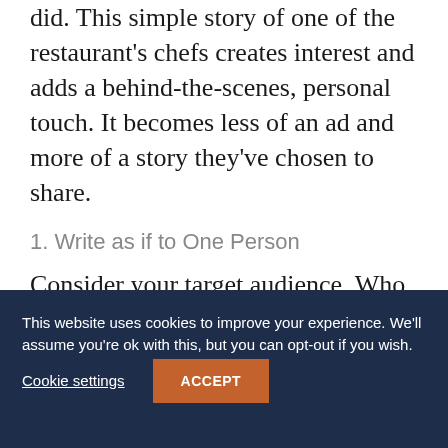did. This simple story of one of the restaurant's chefs creates interest and adds a behind-the-scenes, personal touch. It becomes less of an ad and more of a story they've chosen to share.
1. Write as if to One Person
Consider your target audience. Who are they? If you're a professional photographer, your audience may be couples looking for a wedding
This website uses cookies to improve your experience. We'll assume you're ok with this, but you can opt-out if you wish.
Cookie settings
ACCEPT